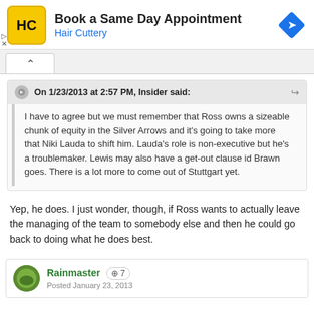[Figure (screenshot): Hair Cuttery advertisement banner with logo and 'Book a Same Day Appointment' text]
On 1/23/2013 at 2:57 PM, Insider said:
I have to agree but we must remember that Ross owns a sizeable chunk of equity in the Silver Arrows and it's going to take more that Niki Lauda to shift him. Lauda's role is non-executive but he's a troublemaker. Lewis may also have a get-out clause id Brawn goes. There is a lot more to come out of Stuttgart yet.
Yep, he does. I just wonder, though, if Ross wants to actually leave the managing of the team to somebody else and then he could go back to doing what he does best.
Rainmaster +7
Posted January 23, 2013